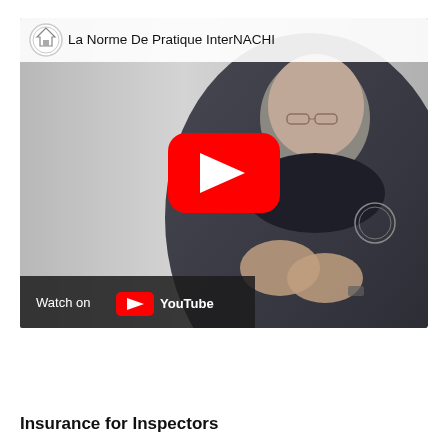[Figure (screenshot): YouTube video thumbnail showing a man in a dark polo shirt with InterNACHI logo, making a gesture with his hands. The video title reads 'La Norme De Pratique InterNACHI'. A red YouTube play button is centered on the image. A 'Watch on YouTube' bar appears at the bottom left.]
Insurance for Inspectors